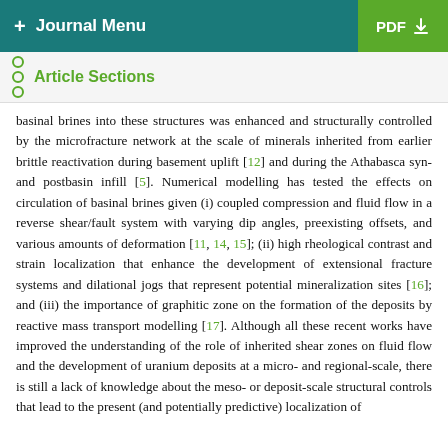+ Journal Menu   PDF ↓
Article Sections
basinal brines into these structures was enhanced and structurally controlled by the microfracture network at the scale of minerals inherited from earlier brittle reactivation during basement uplift [12] and during the Athabasca syn- and postbasin infill [5]. Numerical modelling has tested the effects on circulation of basinal brines given (i) coupled compression and fluid flow in a reverse shear/fault system with varying dip angles, preexisting offsets, and various amounts of deformation [11, 14, 15]; (ii) high rheological contrast and strain localization that enhance the development of extensional fracture systems and dilational jogs that represent potential mineralization sites [16]; and (iii) the importance of graphitic zone on the formation of the deposits by reactive mass transport modelling [17]. Although all these recent works have improved the understanding of the role of inherited shear zones on fluid flow and the development of uranium deposits at a micro- and regional-scale, there is still a lack of knowledge about the meso- or deposit-scale structural controls that lead to the present (and potentially predictive) localization of